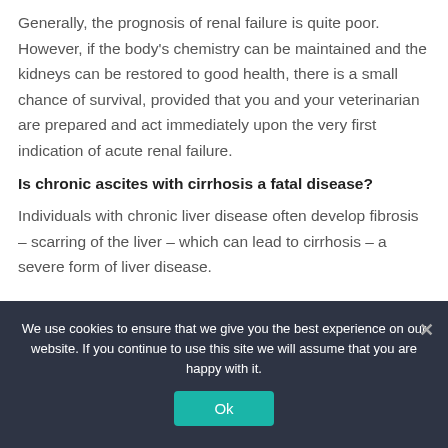Generally, the prognosis of renal failure is quite poor. However, if the body's chemistry can be maintained and the kidneys can be restored to good health, there is a small chance of survival, provided that you and your veterinarian are prepared and act immediately upon the very first indication of acute renal failure.
Is chronic ascites with cirrhosis a fatal disease?
Individuals with chronic liver disease often develop fibrosis – scarring of the liver – which can lead to cirrhosis – a severe form of liver disease.
We use cookies to ensure that we give you the best experience on our website. If you continue to use this site we will assume that you are happy with it.